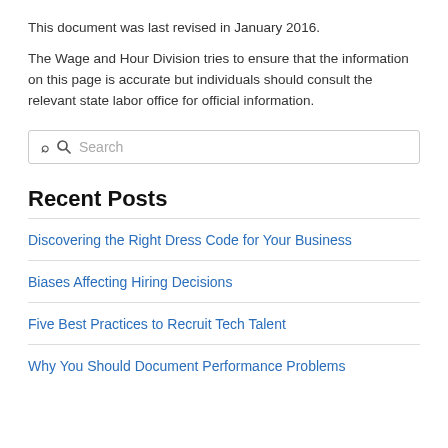This document was last revised in January 2016.
The Wage and Hour Division tries to ensure that the information on this page is accurate but individuals should consult the relevant state labor office for official information.
[Figure (other): Search input box with magnifying glass icon and placeholder text 'Search']
Recent Posts
Discovering the Right Dress Code for Your Business
Biases Affecting Hiring Decisions
Five Best Practices to Recruit Tech Talent
Why You Should Document Performance Problems